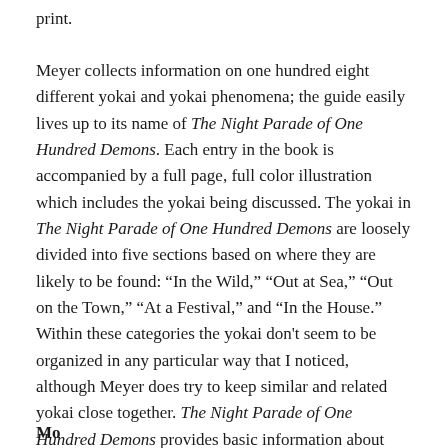print.
Meyer collects information on one hundred eight different yokai and yokai phenomena; the guide easily lives up to its name of The Night Parade of One Hundred Demons. Each entry in the book is accompanied by a full page, full color illustration which includes the yokai being discussed. The yokai in The Night Parade of One Hundred Demons are loosely divided into five sections based on where they are likely to be found: “In the Wild,” “Out at Sea,” “Out on the Town,” “At a Festival,” and “In the House.” Within these categories the yokai don't seem to be organized in any particular way that I noticed, although Meyer does try to keep similar and related yokai close together. The Night Parade of One Hundred Demons provides basic information about yokai: names, habitats, diet, appearance, behavior, interactions with humans, origins, and legends. A list of references, bibliography, and a helpful index are also included in the book.
Mo...